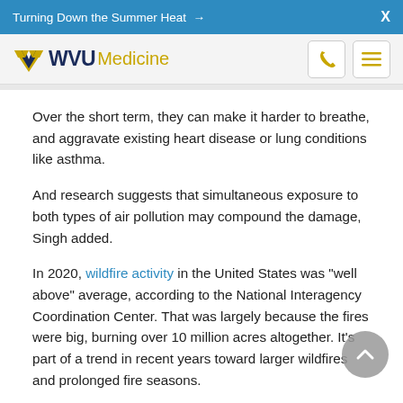Turning Down the Summer Heat →  X
[Figure (logo): WVU Medicine logo with flying WV emblem in gold/navy, phone icon and hamburger menu icon]
Over the short term, they can make it harder to breathe, and aggravate existing heart disease or lung conditions like asthma.
And research suggests that simultaneous exposure to both types of air pollution may compound the damage, Singh added.
In 2020, wildfire activity in the United States was "well above" average, according to the National Interagency Coordination Center. That was largely because the fires were big, burning over 10 million acres altogether. It's part of a trend in recent years toward larger wildfires and prolonged fire seasons.
One driver of the increase is climate change, said Kristina Dahl, a senior climate scientist with the nonprofit Union of Concerned Scientists. Rising temperatures and drought mean